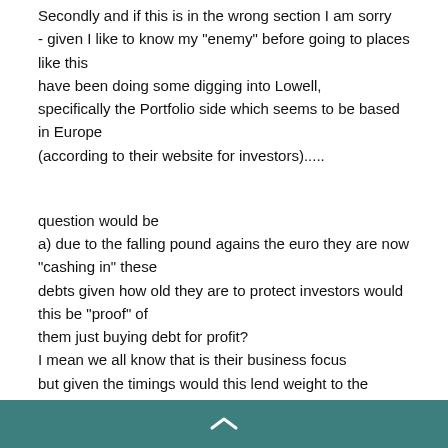Secondly and if this is in the wrong section I am sorry
- given I like to know my "enemy" before going to places like this have been doing some digging into Lowell,
specifically the Portfolio side which seems to be based in Europe (according to their website for investors).....
question would be
a) due to the falling pound agains the euro they are now "cashing in" these debts given how old they are to protect investors would this be "proof" of them just buying debt for profit?
I mean we all know that is their business focus
but given the timings would this lend weight to the arguemnt and
b) is it worth an FOI request to Ministry of Justice to see how much of the increase in CCJ's (30% ish) in first half of 2017 was due to this company?
Again in my case pointless as cant produce evidence this late in the day,
^